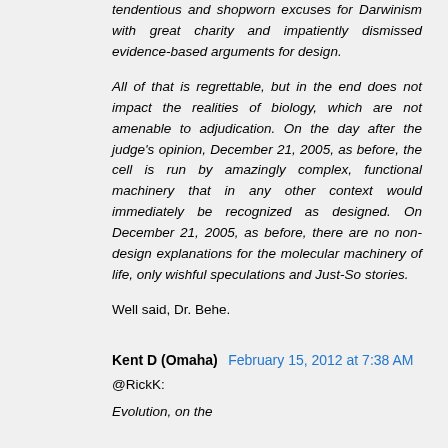tendentious and shopworn excuses for Darwinism with great charity and impatiently dismissed evidence-based arguments for design.
All of that is regrettable, but in the end does not impact the realities of biology, which are not amenable to adjudication. On the day after the judge's opinion, December 21, 2005, as before, the cell is run by amazingly complex, functional machinery that in any other context would immediately be recognized as designed. On December 21, 2005, as before, there are no non-design explanations for the molecular machinery of life, only wishful speculations and Just-So stories.
Well said, Dr. Behe.
Kent D (Omaha) February 15, 2012 at 7:38 AM
@RickK:
Evolution, on the premises, as stated by multiple li...